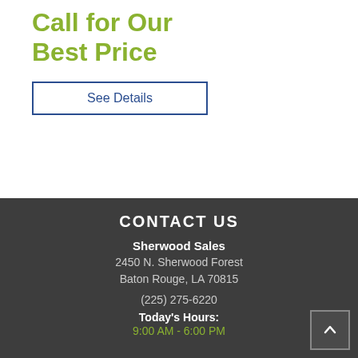Call for Our Best Price
See Details
CONTACT US
Sherwood Sales
2450 N. Sherwood Forest
Baton Rouge, LA 70815
(225) 275-6220
Today's Hours:
9:00 AM - 6:00 PM